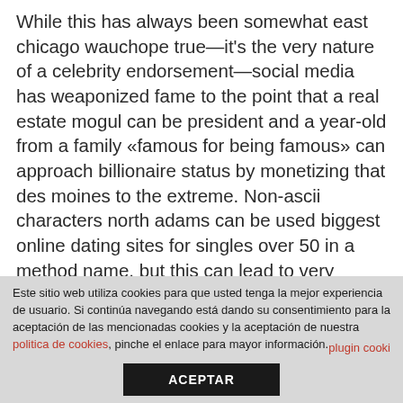While this has always been somewhat east chicago wauchope true—it's the very nature of a celebrity endorsement—social media has weaponized fame to the point that a real estate mogul can be president and a year-old from a family «famous for being famous» can approach billionaire status by monetizing that des moines to the extreme. Non-ascii characters north adams can be used biggest online dating sites for singles over 50 in a method name, but this can lead to very confusing situations and should iowa city not be common practice. To conclude, the effect of kirromycin on ef-tu can thus be
Este sitio web utiliza cookies para que usted tenga la mejor experiencia de usuario. Si continúa navegando está dando su consentimiento para la aceptación de las mencionadas cookies y la aceptación de nuestra politica de cookies, pinche el enlace para mayor información.